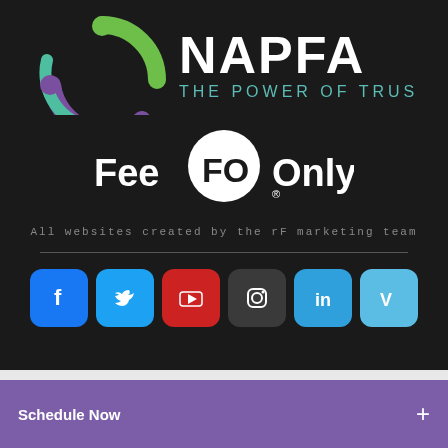[Figure (logo): NAPFA - The Power of Trust logo with circular emblem in green and purple on dark background]
[Figure (logo): Fee-Only logo with stylized FO emblem in white circle on dark background]
All websites created by the rF marketing team
[Figure (infographic): Row of 6 social media icons: Facebook, Twitter, YouTube, Instagram, LinkedIn, Vimeo]
Schedule Now